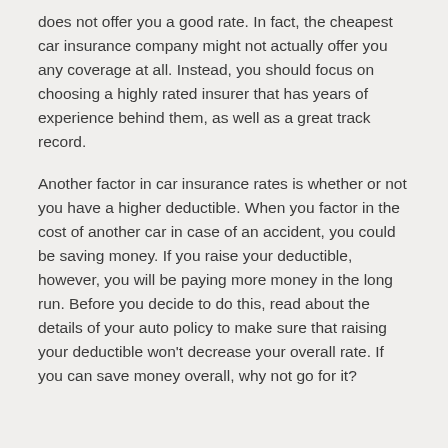does not offer you a good rate. In fact, the cheapest car insurance company might not actually offer you any coverage at all. Instead, you should focus on choosing a highly rated insurer that has years of experience behind them, as well as a great track record.
Another factor in car insurance rates is whether or not you have a higher deductible. When you factor in the cost of another car in case of an accident, you could be saving money. If you raise your deductible, however, you will be paying more money in the long run. Before you decide to do this, read about the details of your auto policy to make sure that raising your deductible won't decrease your overall rate. If you can save money overall, why not go for it?